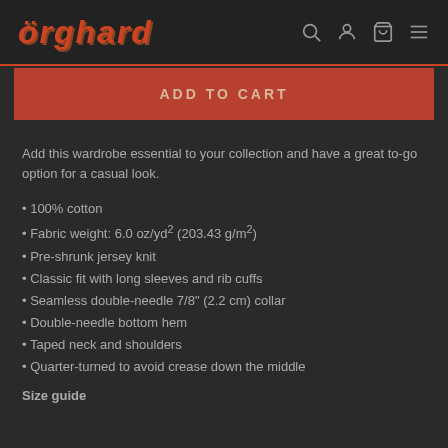orghard
ADD TO CART
Add this wardrobe essential to your collection and have a great to-go option for a casual look.
100% cotton
Fabric weight: 6.0 oz/yd² (203.43 g/m²)
Pre-shrunk jersey knit
Classic fit with long sleeves and rib cuffs
Seamless double-needle 7/8" (2.2 cm) collar
Double-needle bottom hem
Taped neck and shoulders
Quarter-turned to avoid crease down the middle
Size guide